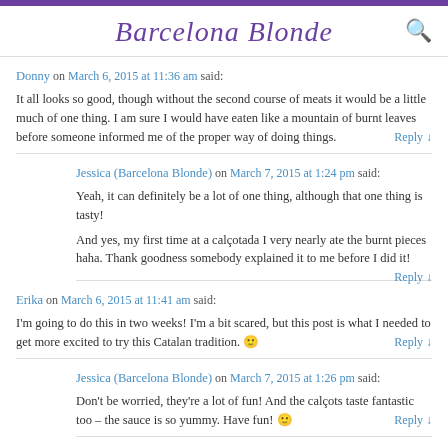Barcelona Blonde
Donny on March 6, 2015 at 11:36 am said: It all looks so good, though without the second course of meats it would be a little much of one thing. I am sure I would have eaten like a mountain of burnt leaves before someone informed me of the proper way of doing things. Reply
Jessica (Barcelona Blonde) on March 7, 2015 at 1:24 pm said: Yeah, it can definitely be a lot of one thing, although that one thing is tasty! And yes, my first time at a calçotada I very nearly ate the burnt pieces haha. Thank goodness somebody explained it to me before I did it! Reply
Erika on March 6, 2015 at 11:41 am said: I'm going to do this in two weeks! I'm a bit scared, but this post is what I needed to get more excited to try this Catalan tradition. 🙂 Reply
Jessica (Barcelona Blonde) on March 7, 2015 at 1:26 pm said: Don't be worried, they're a lot of fun! And the calçots taste fantastic too – the sauce is so yummy. Have fun! 🙂 Reply